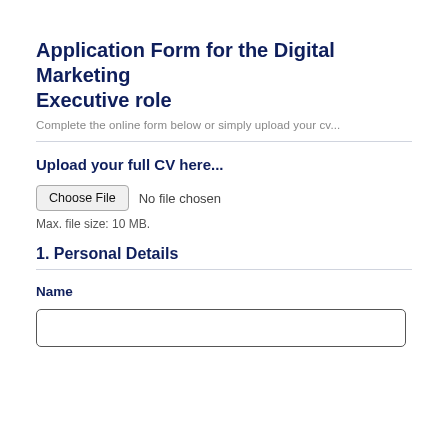Application Form for the Digital Marketing Executive role
Complete the online form below or simply upload your cv...
Upload your full CV here...
[Figure (other): File upload input: Choose File button with 'No file chosen' text]
Max. file size: 10 MB.
1. Personal Details
Name
[Figure (other): Text input box for Name field]